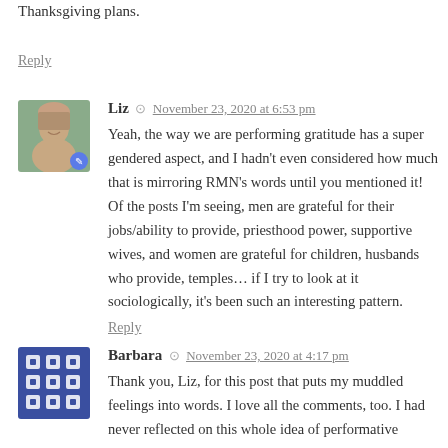Thanksgiving plans.
Reply
Liz  November 23, 2020 at 6:53 pm
Yeah, the way we are performing gratitude has a super gendered aspect, and I hadn't even considered how much that is mirroring RMN's words until you mentioned it! Of the posts I'm seeing, men are grateful for their jobs/ability to provide, priesthood power, supportive wives, and women are grateful for children, husbands who provide, temples… if I try to look at it sociologically, it's been such an interesting pattern.
Reply
Barbara  November 23, 2020 at 4:17 pm
Thank you, Liz, for this post that puts my muddled feelings into words. I love all the comments, too. I had never reflected on this whole idea of performative Mormonism and how